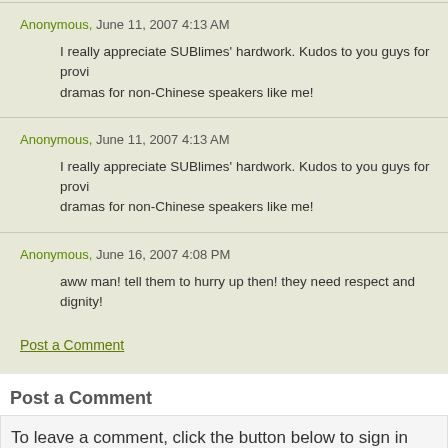Anonymous,  June 11, 2007 4:13 AM
I really appreciate SUBlimes' hardwork. Kudos to you guys for provi... dramas for non-Chinese speakers like me!
Anonymous,  June 11, 2007 4:13 AM
I really appreciate SUBlimes' hardwork. Kudos to you guys for provi... dramas for non-Chinese speakers like me!
Anonymous,  June 16, 2007 4:08 PM
aww man! tell them to hurry up then! they need respect and dignity!
Post a Comment
Post a Comment
To leave a comment, click the button below to sign in with
SIGN IN WITH GOOGLE